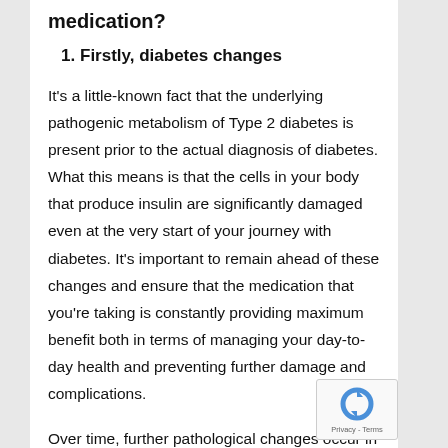medication?
1. Firstly, diabetes changes
It's a little-known fact that the underlying pathogenic metabolism of Type 2 diabetes is present prior to the actual diagnosis of diabetes. What this means is that the cells in your body that produce insulin are significantly damaged even at the very start of your journey with diabetes. It's important to remain ahead of these changes and ensure that the medication that you're taking is constantly providing maximum benefit both in terms of managing your day-to-day health and preventing further damage and complications.
Over time, further pathological changes occur in the body which often necessitates a change in medication. Kidneys or vessels may become damaged and may require additional support or protection. These changes may occur not only because of lifestyle or dietary…